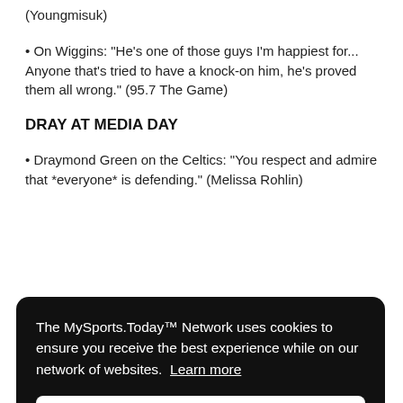(Youngmisuk)
• On Wiggins: "He's one of those guys I'm happiest for... Anyone that's tried to have a knock-on him, he's proved them all wrong." (95.7 The Game)
DRAY AT MEDIA DAY
• Draymond Green on the Celtics: "You respect and admire that *everyone* is defending." (Melissa Rohlin)
The MySports.Today™ Network uses cookies to ensure you receive the best experience while on our network of websites. Learn more
Got it!
• Green when asked what it takes to have repeated